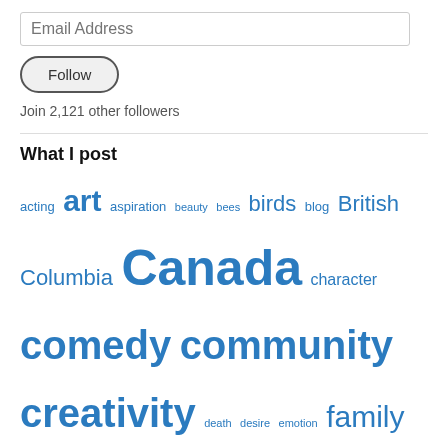Email Address
Follow
Join 2,121 other followers
What I post
acting art aspiration beauty bees birds blog British Columbia Canada character comedy community creativity death desire emotion family fear film film review flowers freedom friends friendship history hockey hope humor humour ideas identity imagination improv inspiration joke journey joy Lake Ontario life love motivation movie movies music nature novel passion